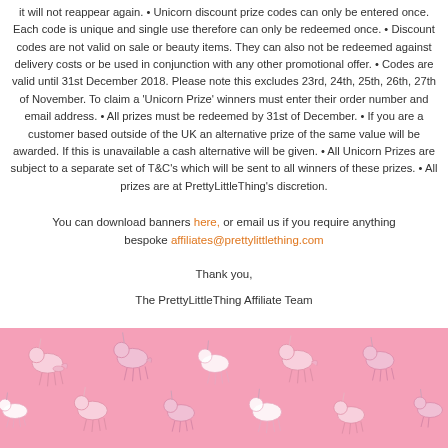it will not reappear again. • Unicorn discount prize codes can only be entered once. Each code is unique and single use therefore can only be redeemed once. • Discount codes are not valid on sale or beauty items. They can also not be redeemed against delivery costs or be used in conjunction with any other promotional offer. • Codes are valid until 31st December 2018. Please note this excludes 23rd, 24th, 25th, 26th, 27th of November. To claim a 'Unicorn Prize' winners must enter their order number and email address. • All prizes must be redeemed by 31st of December. • If you are a customer based outside of the UK an alternative prize of the same value will be awarded. If this is unavailable a cash alternative will be given. • All Unicorn Prizes are subject to a separate set of T&C's which will be sent to all winners of these prizes. • All prizes are at PrettyLittleThing's discretion.
You can download banners here, or email us if you require anything bespoke affiliates@prettylittlething.com
Thank you,
The PrettyLittleThing Affiliate Team
[Figure (illustration): Pink background with repeating white and pink unicorn pattern banner at bottom of page]